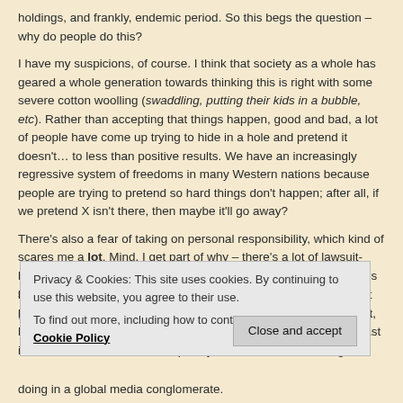holdings, and frankly, endemic period. So this begs the question – why do people do this?
I have my suspicions, of course. I think that society as a whole has geared a whole generation towards thinking this is right with some severe cotton woolling (swaddling, putting their kids in a bubble, etc). Rather than accepting that things happen, good and bad, a lot of people have come up trying to hide in a hole and pretend it doesn't… to less than positive results. We have an increasingly regressive system of freedoms in many Western nations because people are trying to pretend so hard things don't happen; after all, if we pretend X isn't there, then maybe it'll go away?
There's also a fear of taking on personal responsibility, which kind of scares me a lot. Mind, I get part of why – there's a lot of lawsuit-happy crazies looking for people to blame and get a buck off of. It's sad that there's this end of attitude of not taking the blame, and of putting it on others... I'm vexed by it, because I do try my best to... blame me for anything that comes along in their life that they don't like. It's kind of majorly lame, but it does tell me who I can ship out, hee hee. But it's one thing to play dumb if at home and eat your last ice cream sandwich, and completely another when it's wrong doing in a global media conglomerate.
Privacy & Cookies: This site uses cookies. By continuing to use this website, you agree to their use.
To find out more, including how to control cookies, see here: Cookie Policy
Close and accept